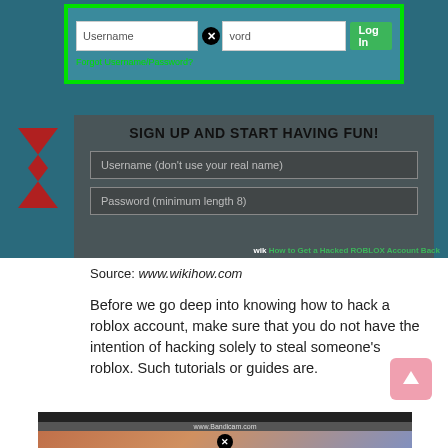[Figure (screenshot): Screenshot of a Roblox login form highlighted with a green border, showing Username and Password fields with a Log In button, and a sign-up section below with 'SIGN UP AND START HAVING FUN!' title, username and password fields, and a WikiHow watermark reading 'How to Get a Hacked ROBLOX Account Back']
Source: www.wikihow.com
Before we go deep into knowing how to hack a roblox account, make sure that you do not have the intention of hacking solely to steal someone’s roblox. Such tutorials or guides are.
[Figure (screenshot): Partial screenshot of a desktop with www.Bandicam.com watermark and a circular X icon, with a pink-purple sky background]